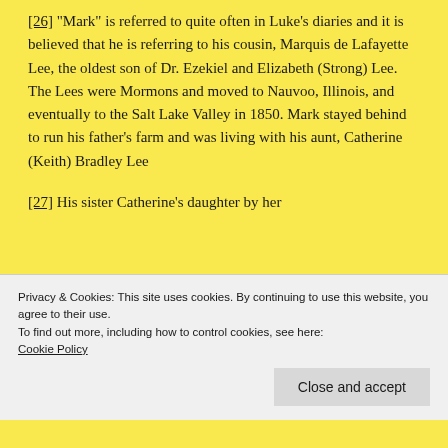[26] "Mark" is referred to quite often in Luke's diaries and it is believed that he is referring to his cousin, Marquis de Lafayette Lee, the oldest son of Dr. Ezekiel and Elizabeth (Strong) Lee. The Lees were Mormons and moved to Nauvoo, Illinois, and eventually to the Salt Lake Valley in 1850. Mark stayed behind to run his father's farm and was living with his aunt, Catherine (Keith) Bradley Lee
[27] His sister Catherine's daughter by her
Privacy & Cookies: This site uses cookies. By continuing to use this website, you agree to their use.
To find out more, including how to control cookies, see here:
Cookie Policy
Close and accept